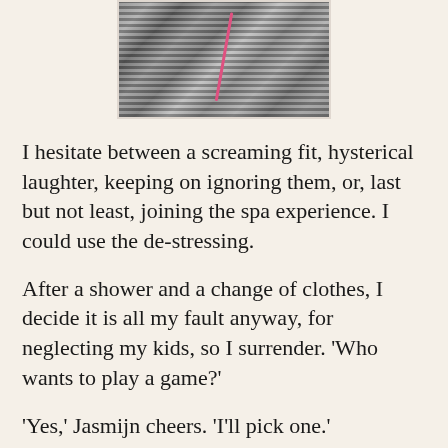[Figure (photo): Partial photo of a child wearing a black and white striped dress with a pink cord/string visible, cropped to show torso and hands.]
I hesitate between a screaming fit, hysterical laughter, keeping on ignoring them, or, last but not least, joining the spa experience. I could use the de-stressing.
After a shower and a change of clothes, I decide it is all my fault anyway, for neglecting my kids, so I surrender. 'Who wants to play a game?'
'Yes,' Jasmijn cheers. 'I'll pick one.'
She comes back with Monopoly Deal, her favourite card game.
Linde and Tijm are slumped on the sofa, reading comics.
After some coercion they join us at the table. Jasmijn wants to start, and slaps a rent card on the table